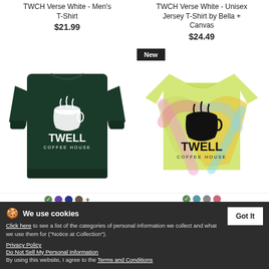TWCH Verse White - Men's T-Shirt
$21.99
TWCH Verse White - Unisex Jersey T-Shirt by Bella + Canvas
$24.49
[Figure (photo): Dark green crewneck sweatshirt with TWELL COFFEE HOUSE logo in white]
[Figure (photo): Tie-dye t-shirt with TWELL COFFEE HOUSE logo in black, labeled New]
TWCH Verse White - Unisex Crewneck Sweatshirt
$30.99
TWCH Verse Black - Tie Dye T-Shirt
$24.99
We use cookies. Click here to see a list of the categories of personal information we collect and what we use them for ("Notice at Collection"). Privacy Policy. Do Not Sell My Personal Information. By using this website, I agree to the Terms and Conditions.